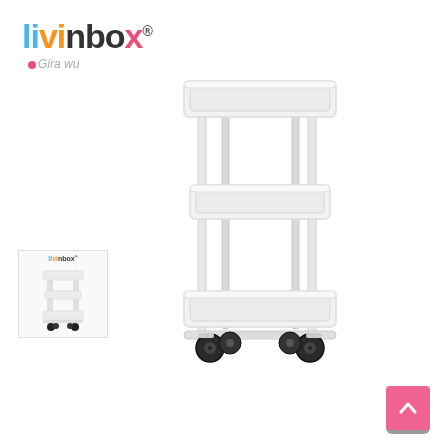[Figure (logo): livinbox brand logo with colorful text and Chinese subtitle]
[Figure (photo): White 3-tier rolling cart/trolley with black wheels on white background]
[Figure (photo): Small thumbnail image of the same white rolling cart]
[Figure (other): Zoom magnify button icon (grey square with magnifying glass)]
[Figure (other): Back to top button (pink square with upward chevron arrow)]